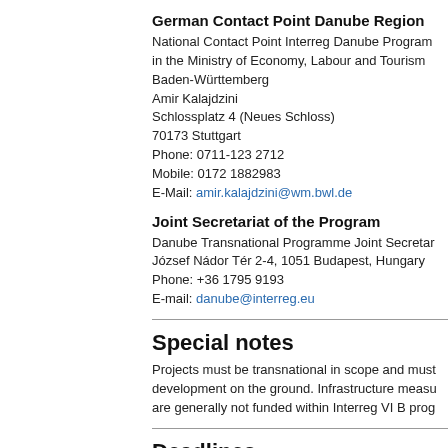German Contact Point Danube Region
National Contact Point Interreg Danube Program in the Ministry of Economy, Labour and Tourism Baden-Württemberg
Amir Kalajdzini
Schlossplatz 4 (Neues Schloss)
70173 Stuttgart
Phone: 0711-123 2712
Mobile: 0172 1882983
E-Mail: amir.kalajdzini@wm.bwl.de
Joint Secretariat of the Program
Danube Transnational Programme Joint Secretariat
József Nádor Tér 2-4, 1051 Budapest, Hungary
Phone: +36 1795 9193
E-mail: danube@interreg.eu
Special notes
Projects must be transnational in scope and must development on the ground. Infrastructure measures are generally not funded within Interreg VI B prog
Deadlines
In the current funding period, the program covers completed by 2029 at the latest. The calls and de be found on the program's website (see "Related the respective current documents (start of the pro concept is usually between eight weeks and four